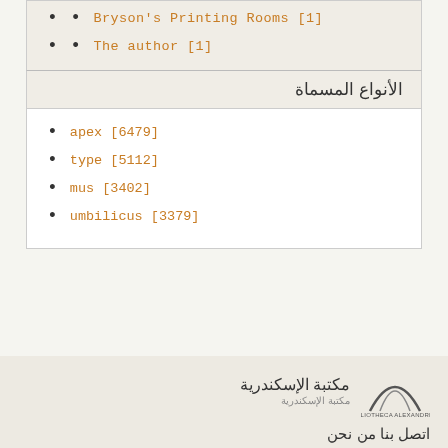Bryson's Printing Rooms [1]
The author [1]
الأنواع المسماة
apex [6479]
type [5112]
mus [3402]
umbilicus [3379]
مكتبة الإسكندرية  اتصل بنا من نحن